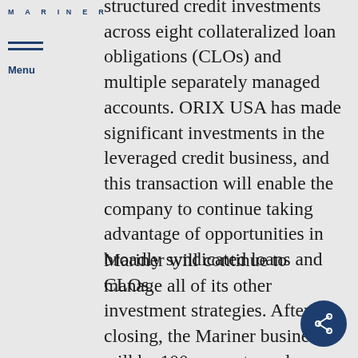MARINER
structured credit investments across eight collateralized loan obligations (CLOs) and multiple separately managed accounts. ORIX USA has made significant investments in the leveraged credit business, and this transaction will enable the company to continue taking advantage of opportunities in broadly syndicated loans and CLOs.
Mariner will continue to manage all of its other investment strategies. After closing, the Mariner business will be 100 percent employee-owned and